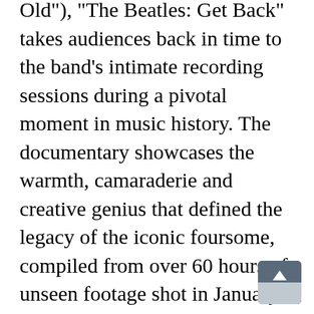Old”), “The Beatles: Get Back” takes audiences back in time to the band’s intimate recording sessions during a pivotal moment in music history. The documentary showcases the warmth, camaraderie and creative genius that defined the legacy of the iconic foursome, compiled from over 60 hours of unseen footage shot in January 1969 (by Michael Lindsay-Hogg) and more than 150 hours of unheard audio, all of which has been brilliantly restored.Jackson is the only person in 50